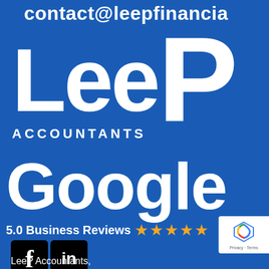contact@leepfinancia
[Figure (logo): LeeP Accountants logo in white text on blue background, with large stylized letters L, e, e, P and 'ACCOUNTANTS' subtitle]
Google
5.0 Business Reviews ★★★★★
[Figure (logo): reCAPTCHA badge with Privacy and Terms links]
[Figure (logo): Facebook and LinkedIn social media icons in black rounded squares]
LeeP Accountants,